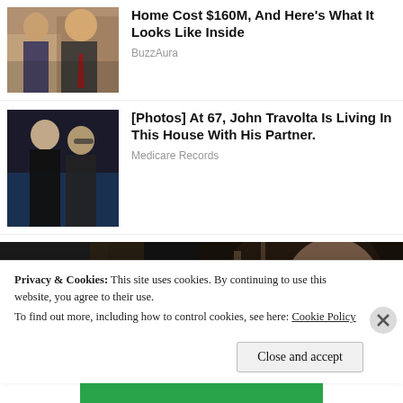[Figure (photo): Thumbnail photo of two people, man and woman, formal attire]
Home Cost $160M, And Here's What It Looks Like Inside
BuzzAura
[Figure (photo): Thumbnail photo of two men, one kissing the other on the cheek]
[Photos] At 67, John Travolta Is Living In This House With His Partner.
Medicare Records
[Figure (photo): Large photo of a woman with dark hair, close-up]
Privacy & Cookies: This site uses cookies. By continuing to use this website, you agree to their use. To find out more, including how to control cookies, see here: Cookie Policy
Close and accept